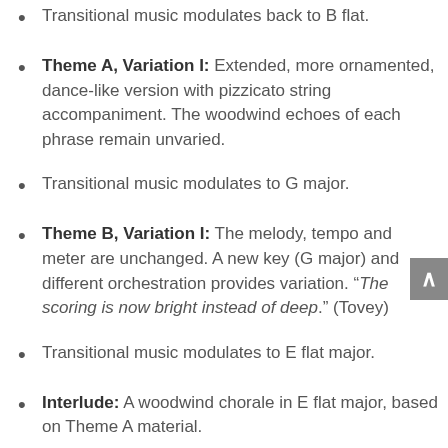Transitional music modulates back to B flat.
Theme A, Variation I: Extended, more ornamented, dance-like version with pizzicato string accompaniment. The woodwind echoes of each phrase remain unvaried.
Transitional music modulates to G major.
Theme B, Variation I: The melody, tempo and meter are unchanged. A new key (G major) and different orchestration provides variation. “The scoring is now bright instead of deep.” (Tovey)
Transitional music modulates to E flat major.
Interlude: A woodwind chorale in E flat major, based on Theme A material.
NOTE: This chorale features a famous moment in the Ninth Symphony, a rising melody played by a solo horn. The part is assigned to the fourth horn instead of the first, as it should have been. The story